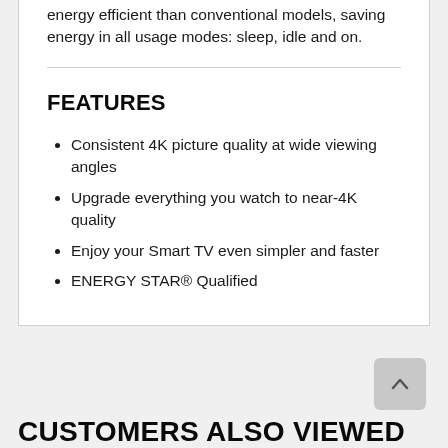energy efficient than conventional models, saving energy in all usage modes: sleep, idle and on.
FEATURES
Consistent 4K picture quality at wide viewing angles
Upgrade everything you watch to near-4K quality
Enjoy your Smart TV even simpler and faster
ENERGY STAR® Qualified
CUSTOMERS ALSO VIEWED